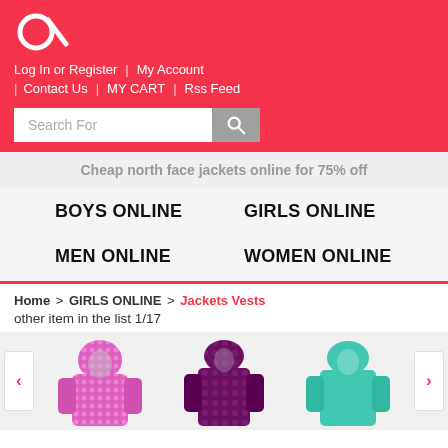[Figure (logo): Alpha/brand logo in white on pink background]
Log In or Register | My Account | Contact Us | MY CART | Rss Feed
Search For
Cheap north face jackets online for 75% off
BOYS ONLINE
GIRLS ONLINE
MEN ONLINE
WOMEN ONLINE
Home > GIRLS ONLINE > Jackets Vests
other item in the list 1/17
[Figure (photo): Three girls' jackets/vests shown in a horizontal carousel: pink patterned hoodie, dark purple patterned jacket, and teal/mint jacket]